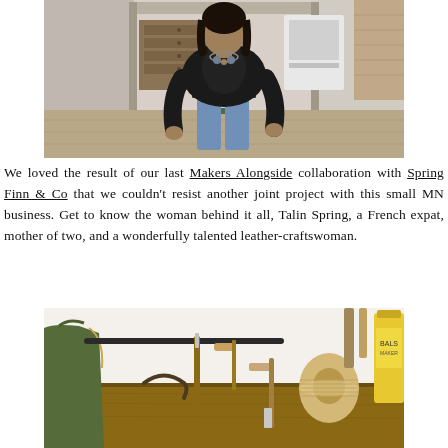[Figure (photo): Woman in black jacket and jeans sitting in a rustic workshop/studio space with wooden furniture and tools in the background]
We loved the result of our last Makers Alongside collaboration with Spring Finn & Co that we couldn't resist another joint project with this small MN business. Get to know the woman behind it all, Talin Spring, a French expat, mother of two, and a wonderfully talented leather-craftswoman.
[Figure (photo): Leather crafting tools on a wooden workbench including awls, thread spool, and a bottle of product, with a green leather bag visible on the left]